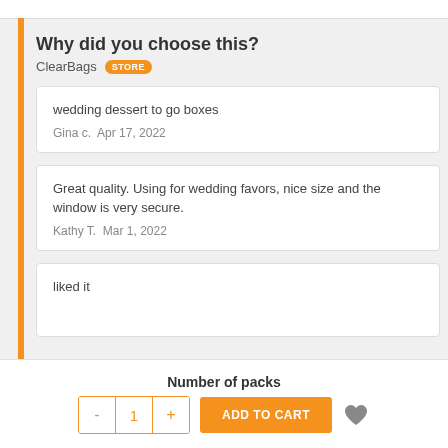Why did you choose this?
ClearBags  STORE
wedding dessert to go boxes
Gina c.  Apr 17, 2022
Great quality. Using for wedding favors, nice size and the window is very secure.
Kathy T.  Mar 1, 2022
liked it
Number of packs
- 1 +  ADD TO CART